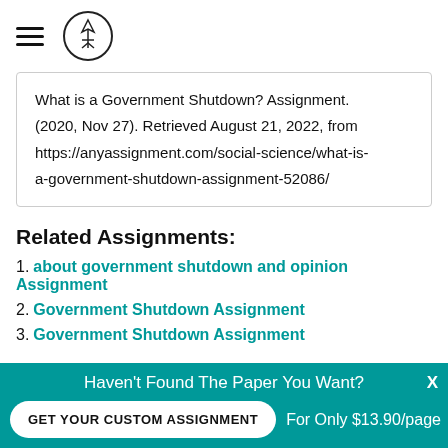[hamburger menu icon] [logo icon]
What is a Government Shutdown? Assignment. (2020, Nov 27). Retrieved August 21, 2022, from https://anyassignment.com/social-science/what-is-a-government-shutdown-assignment-52086/
Related Assignments:
1. about government shutdown and opinion Assignment
2. Government Shutdown Assignment
3. Government Shutdown Assignment
Haven't Found The Paper You Want? GET YOUR CUSTOM ASSIGNMENT For Only $13.90/page X